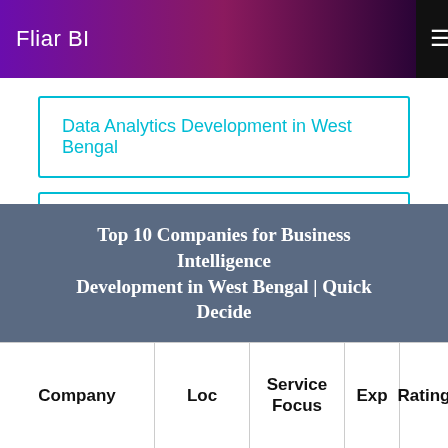Fliar BI
Data Analytics Development in West Bengal
Data Science Development in West Bengal
Business Intelligence Development in West Bengal
Digital Transformation Development in West Bengal
Top 10 Companies for Business Intelligence Development in West Bengal | Quick Decide
| Company | Loc | Service Focus | Exp | Rating |
| --- | --- | --- | --- | --- |